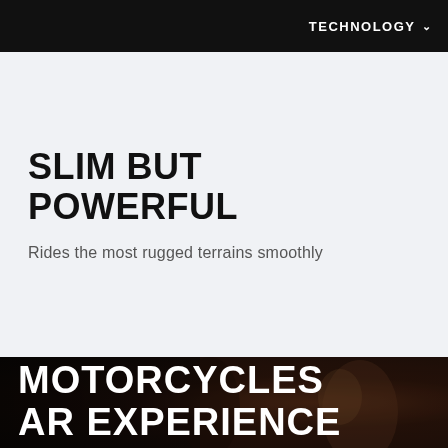TECHNOLOGY ˅
SLIM BUT POWERFUL
Rides the most rugged terrains smoothly
[Figure (photo): Dark background with blurred motorcycle/person scene]
HONDA MOTORCYCLES AR EXPERIENCE